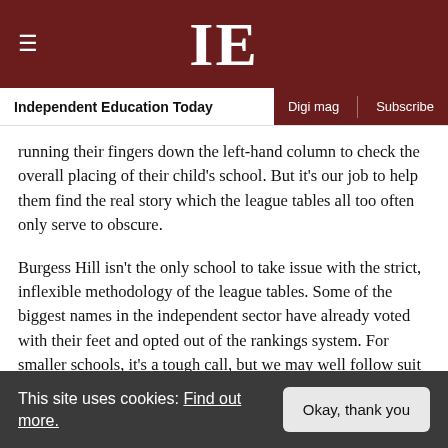IE — Independent Education Today | Digi mag | Subscribe
running their fingers down the left-hand column to check the overall placing of their child's school. But it's our job to help them find the real story which the league tables all too often only serve to obscure.
Burgess Hill isn't the only school to take issue with the strict, inflexible methodology of the league tables. Some of the biggest names in the independent sector have already voted with their feet and opted out of the rankings system. For smaller schools, it's a tough call, but we may well follow suit if the system is not reformed.
In any case, a school is so much more than the
This site uses cookies: Find out more. | Okay, thank you